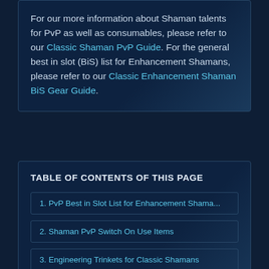For our more information about Shaman talents for PvP as well as consumables, please refer to our Classic Shaman PvP Guide. For the general best in slot (BiS) list for Enhancement Shamans, please refer to our Classic Enhancement Shaman BiS Gear Guide.
TABLE OF CONTENTS OF THIS PAGE
1. PvP Best in Slot List for Enhancement Shama...
2. Shaman PvP Switch On Use Items
3. Engineering Trinkets for Classic Shamans
4. Shaman PvP Guide